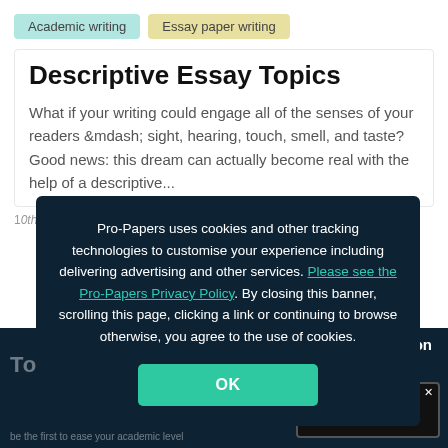Academic writing
Essay paper writing
Descriptive Essay Topics
What if your writing could engage all of the senses of your readers &mdash; sight, hearing, touch, smell, and taste? Good news: this dream can actually become real with the help of a descriptive...
35318
Pro-Papers uses cookies and other tracking technologies to customise your experience including delivering advertising and other services. Please see the Pro-Papers Privacy Policy. By closing this banner, scrolling this page, clicking a link or continuing to browse otherwise, you agree to the use of cookies.
OK
& save 15% on
ORDER NOW